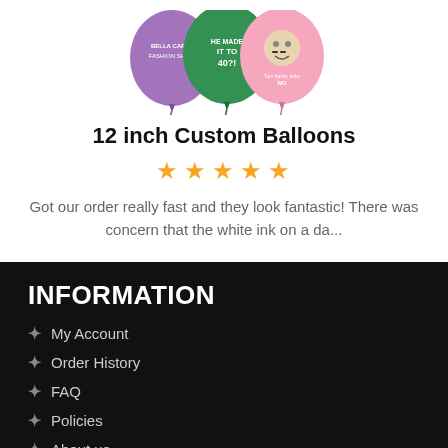[Figure (photo): Three custom printed balloons: purple, green, and pink with printed text/images on them]
12 inch Custom Balloons
[Figure (other): Five gold/yellow star rating icons]
Got our order really fast and they look fantastic! There was concern that the white ink on a da...
INFORMATION
My Account
Order History
FAQ
Policies
About us
FEATURED
LATEX BALLOONS